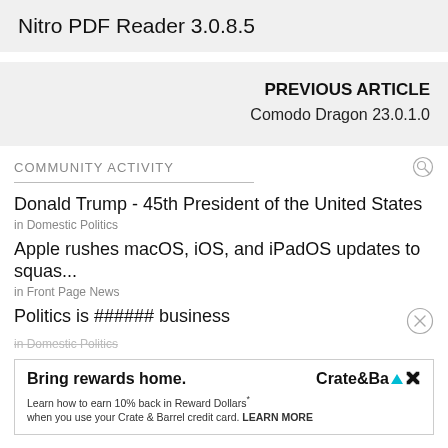Nitro PDF Reader 3.0.8.5
PREVIOUS ARTICLE
Comodo Dragon 23.0.1.0
COMMUNITY ACTIVITY
Donald Trump - 45th President of the United States
in Domestic Politics
Apple rushes macOS, iOS, and iPadOS updates to squas...
in Front Page News
Politics is ###### business
in Domestic Politics
[Figure (other): Advertisement for Crate & Barrel: 'Bring rewards home. Learn how to earn 10% back in Reward Dollars when you use your Crate & Barrel credit card. LEARN MORE']